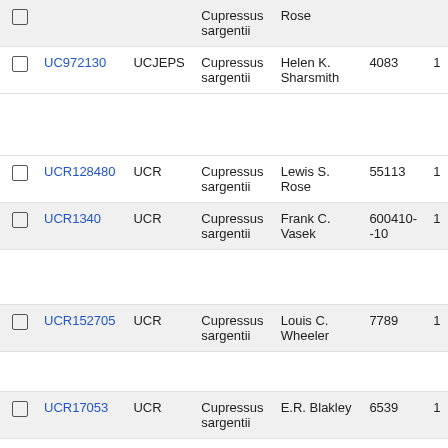|  | Accession | Institution | Taxon | Collector | Number |  |
| --- | --- | --- | --- | --- | --- | --- |
| ☐ |  |  | Cupressus sargentii | Rose |  |  |
| ☐ | UC972130 | UCJEPS | Cupressus sargentii | Helen K. Sharsmith | 4083 | 1 |
| ☐ | UCR128480 | UCR | Cupressus sargentii | Lewis S. Rose | 55113 | 1 |
| ☐ | UCR1340 | UCR | Cupressus sargentii | Frank C. Vasek | 600410--10 | 1 |
| ☐ | UCR152705 | UCR | Cupressus sargentii | Louis C. Wheeler | 7789 | 1 |
| ☐ | UCR17053 | UCR | Cupressus sargentii | E.R. Blakley | 6539 | 1 |